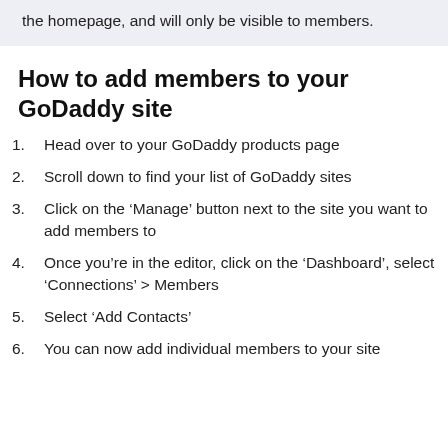the homepage, and will only be visible to members.
How to add members to your GoDaddy site
1. Head over to your GoDaddy products page
2. Scroll down to find your list of GoDaddy sites
3. Click on the ‘Manage’ button next to the site you want to add members to
4. Once you’re in the editor, click on the ‘Dashboard’, select ‘Connections’ > Members
5. Select ‘Add Contacts’
6. You can now add individual members to your site